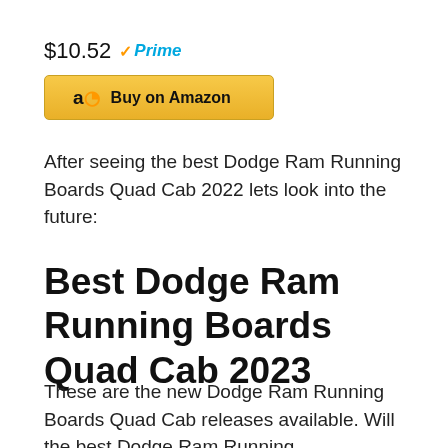$10.52 Prime
[Figure (other): Amazon 'Buy on Amazon' button with Amazon logo]
After seeing the best Dodge Ram Running Boards Quad Cab 2022 lets look into the future:
Best Dodge Ram Running Boards Quad Cab 2023
These are the new Dodge Ram Running Boards Quad Cab releases available. Will the best Dodge Ram Running